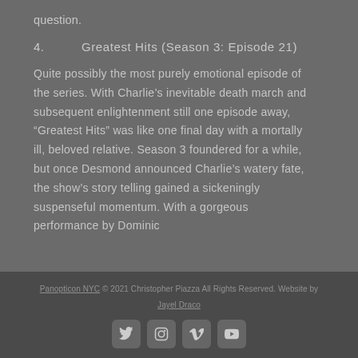question.
4.          Greatest Hits (Season 3: Episode 21)
Quite possibly the most purely emotional episode of the series. With Charlie’s inevitable death march and subsequent enlightenment still one episode away, “Greatest Hits” was like one final day with a mortally ill, beloved relative. Season 3 foundered for a while, but once Desmond announced Charlie’s watery fate, the show’s story telling gained a sickeningly suspenseful momentum. With a gorgeous performance by Dominic
Panopticon NYC © 2021 Christopher Piazza All Rights Reserved. Website by Jayel Draco